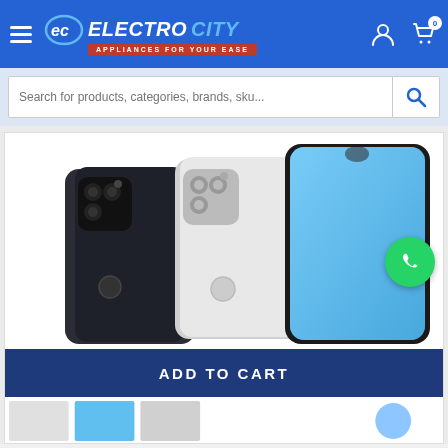ELECTRO CITY — APPLIANCES FOR YOUR EASE
Search for products, categories, brands, sku...
[Figure (screenshot): Product listing page showing OPPO smartphones (black and white variants) with camera detail views and ADD TO CART button overlay]
[Figure (logo): WhatsApp floating contact button]